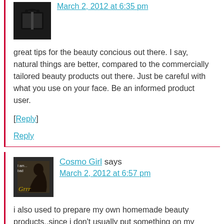March 2, 2012 at 6:35 pm
great tips for the beauty concious out there. I say, natural things are better, compared to the commercially tailored beauty products out there. Just be careful with what you use on your face. Be an informed product user.
[Reply]
Reply
Cosmo Girl says
March 2, 2012 at 6:57 pm
i also used to prepare my own homemade beauty products..since i don't usually put something on my face, i just prepare them for my hair and sometimes for